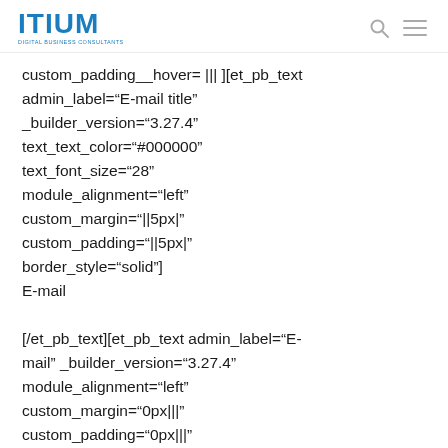ITIUM DIGITAL BUSINESS CONSULTANTS
custom_padding__hover= ||| ][et_pb_text admin_label="E-mail title" _builder_version="3.27.4" text_text_color="#000000" text_font_size="28" module_alignment="left" custom_margin="||5px|" custom_padding="||5px|" border_style="solid"]
E-mail

[/et_pb_text][et_pb_text admin_label="E-mail" _builder_version="3.27.4" module_alignment="left" custom_margin="0px|||" custom_padding="0px|||" border_style="solid"]